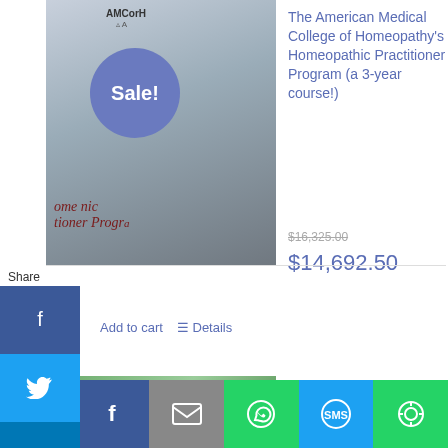[Figure (screenshot): Product listing page for American Medical College of Homeopathy courses with social share sidebar and sale badges]
Sale!
The American Medical College of Homeopathy's Homeopathic Practitioner Program (a 3-year course!)
$16,325.00  $14,692.50
Add to cart   Details
Share
Sale!
The American Medical College of Homeopathy's Clinical 150 Clinic